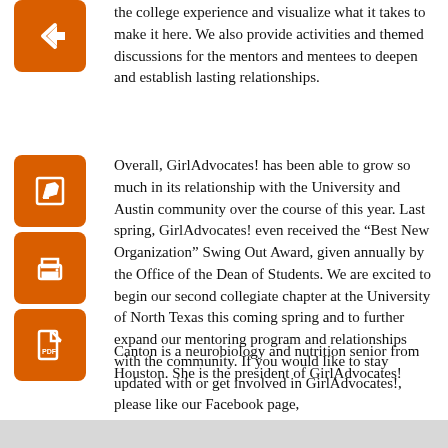the college experience and visualize what it takes to make it here. We also provide activities and themed discussions for the mentors and mentees to deepen and establish lasting relationships.
Overall, GirlAdvocates! has been able to grow so much in its relationship with the University and Austin community over the course of this year. Last spring, GirlAdvocates! even received the “Best New Organization” Swing Out Award, given annually by the Office of the Dean of Students. We are excited to begin our second collegiate chapter at the University of North Texas this coming spring and to further expand our mentoring program and relationships with the community. If you would like to stay updated with or get involved in GirlAdvocates!, please like our Facebook page, https://www.facebook.com/girladvocates, and visit our website, www.girladvocates.org.
Canton is a neurobiology and nutrition senior from Houston. She is the president of GirlAdvocates!